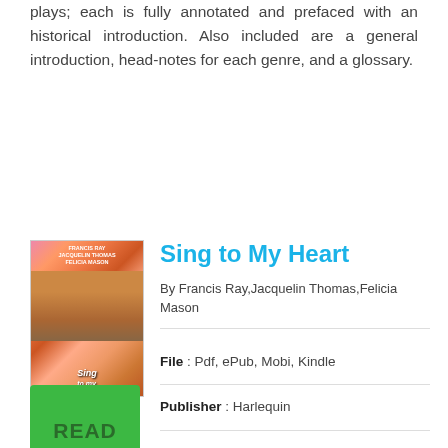plays; each is fully annotated and prefaced with an historical introduction. Also included are a general introduction, head-notes for each genre, and a glossary.
Sing to My Heart
By Francis Ray,Jacquelin Thomas,Felicia Mason
[Figure (illustration): Book cover for 'Sing to My Heart' showing authors Francis Ray, Jacquelin Thomas, Felicia Mason]
[Figure (other): Green READ PDF button]
File : Pdf, ePub, Mobi, Kindle
Publisher : Harlequin
Book Code : 1459233301